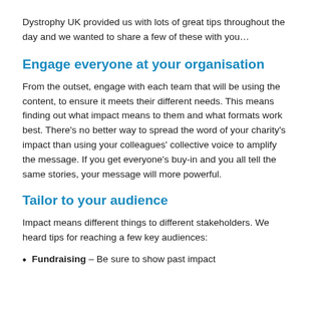Dystrophy UK provided us with lots of great tips throughout the day and we wanted to share a few of these with you…
Engage everyone at your organisation
From the outset, engage with each team that will be using the content, to ensure it meets their different needs. This means finding out what impact means to them and what formats work best. There's no better way to spread the word of your charity's impact than using your colleagues' collective voice to amplify the message. If you get everyone's buy-in and you all tell the same stories, your message will more powerful.
Tailor to your audience
Impact means different things to different stakeholders. We heard tips for reaching a few key audiences:
Fundraising – Be sure to show past impact